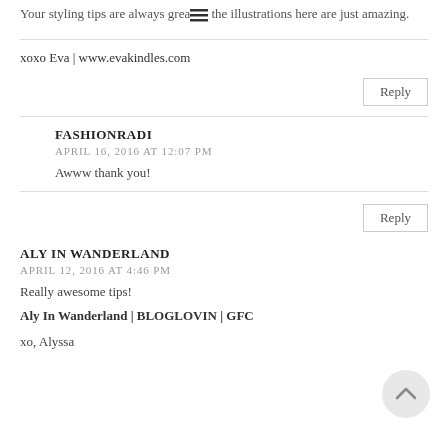Your styling tips are always great the illustrations here are just amazing.
xoxo Eva | www.evakindles.com
Reply
FASHIONRADI
APRIL 16, 2016 AT 12:07 PM
Awww thank you!
Reply
ALY IN WANDERLAND
APRIL 12, 2016 AT 4:46 PM
Really awesome tips!
Aly In Wanderland | BLOGLOVIN | GFC
xo, Alyssa